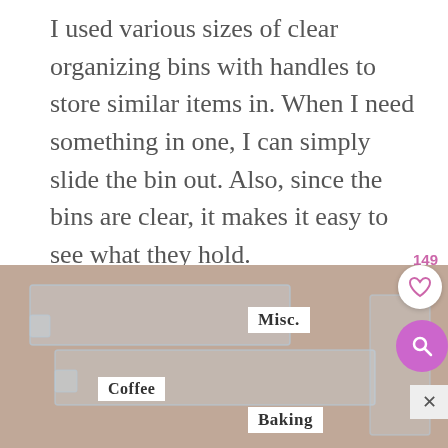I used various sizes of clear organizing bins with handles to store similar items in. When I need something in one, I can simply slide the bin out. Also, since the bins are clear, it makes it easy to see what they hold.
[Figure (photo): Photo of multiple clear plastic organizing bins with label holders showing labels: Misc., Coffee, Baking. Bins are arranged on a wooden surface. A heart/like button (149 likes) and search button overlay the top-right corner.]